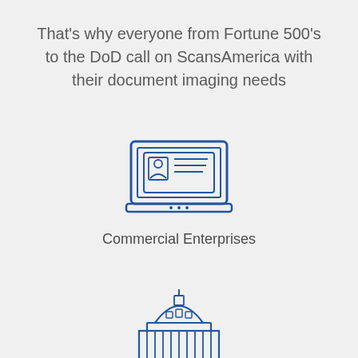That's why everyone from Fortune 500's to the DoD call on ScansAmerica with their document imaging needs
[Figure (illustration): Line icon of a laptop with an ID card/document displayed on screen, showing a person's photo and text lines]
Commercial Enterprises
[Figure (illustration): Line icon of a government/federal building with dome and columns]
Federal Agencies